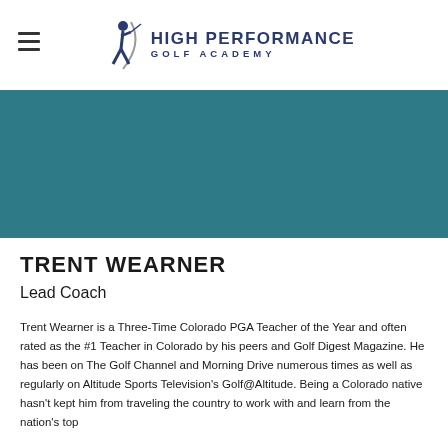HIGH PERFORMANCE GOLF ACADEMY
[Figure (illustration): Teal/dark blue banner image strip]
TRENT WEARNER
Lead Coach
Trent Wearner is a Three-Time Colorado PGA Teacher of the Year and often rated as the #1 Teacher in Colorado by his peers and Golf Digest Magazine. He has been on The Golf Channel and Morning Drive numerous times as well as regularly on Altitude Sports Television's Golf@Altitude. Being a Colorado native hasn't kept him from traveling the country to work with and learn from the nation's top